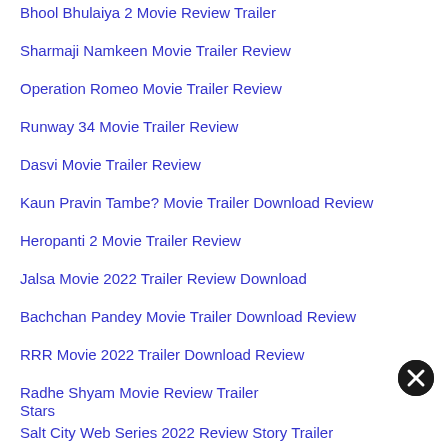Bhool Bhulaiya 2 Movie Review Trailer
Sharmaji Namkeen Movie Trailer Review
Operation Romeo Movie Trailer Review
Runway 34 Movie Trailer Review
Dasvi Movie Trailer Review
Kaun Pravin Tambe? Movie Trailer Download Review
Heropanti 2 Movie Trailer Review
Jalsa Movie 2022 Trailer Review Download
Bachchan Pandey Movie Trailer Download Review
RRR Movie 2022 Trailer Download Review
Radhe Shyam Movie Review Trailer Stars
Salt City Web Series 2022 Review Story Trailer